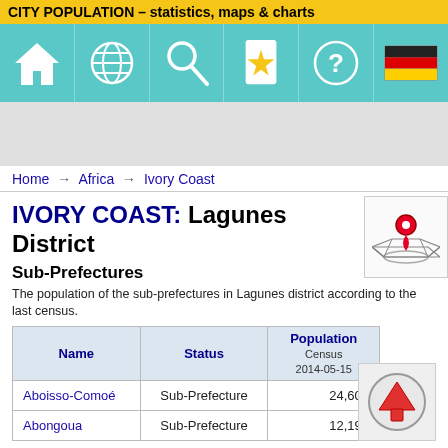CITY POPULATION – statistics, maps & charts
[Figure (screenshot): Navigation icon bar with home, globe, search, star/bookmark, question mark, and German flag icons on teal background]
[Figure (other): Advertisement/banner area (gray placeholder)]
Home → Africa → Ivory Coast
IVORY COAST: Lagunes District
[Figure (illustration): Map location pin icon on a map outline]
Sub-Prefectures
The population of the sub-prefectures in Lagunes district according to the last census.
| Name | Status | Population Census 2014-05-15 |
| --- | --- | --- |
| Aboisso-Comoé | Sub-Prefecture | 24,609 |
| Abongoua | Sub-Prefecture | 12,197 |
[Figure (illustration): Up arrow circle button icon]